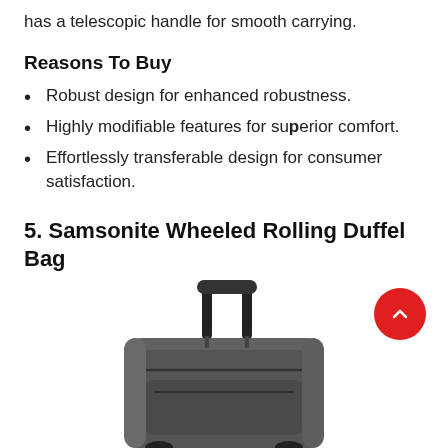has a telescopic handle for smooth carrying.
Reasons To Buy
Robust design for enhanced robustness.
Highly modifiable features for superior comfort.
Effortlessly transferable design for consumer satisfaction.
5. Samsonite Wheeled Rolling Duffel Bag
[Figure (photo): Photo of a Samsonite wheeled rolling duffel bag with telescopic handle extended, shown in gray/charcoal color with multiple compartments and zippers.]